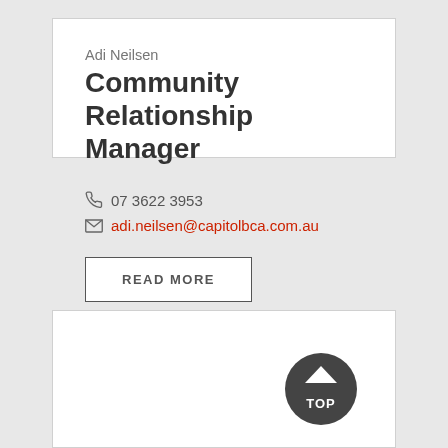Adi Neilsen
Community Relationship Manager
07 3622 3953
adi.neilsen@capitolbca.com.au
READ MORE
[Figure (illustration): Dark circular button with an upward triangle arrow icon on top and the word TOP below it, used as a scroll-to-top navigation button.]